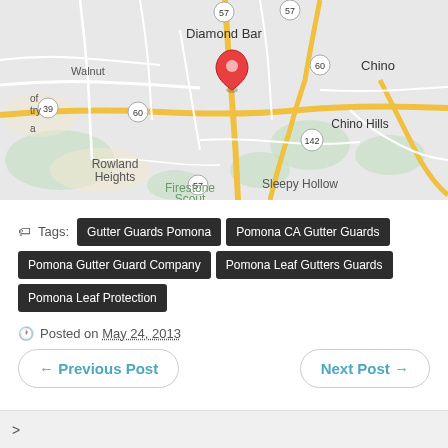[Figure (map): Google Maps screenshot showing Diamond Bar, Walnut, Rowland Heights, Chino Hills, Chino, Firestone Scout, Sleepy Hollow area with a red location pin marker near Diamond Bar/Pomona area. Highways 57, 60, 142, 39 visible.]
Tags: Gutter Guards Pomona | Pomona CA Gutter Guards | Pomona Gutter Guard Company | Pomona Leaf Gutters Guards | Pomona Leaf Protection
Posted on May 24, 2013
← Previous Post
Next Post →
>